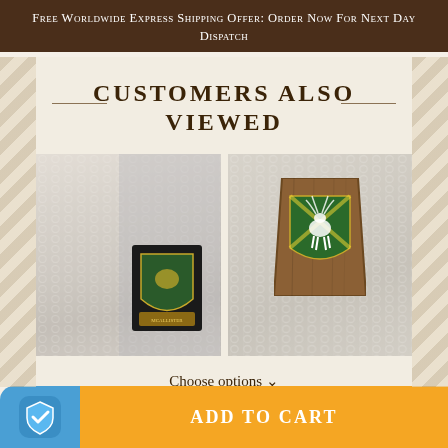Free Worldwide Express Shipping Offer: Order Now For Next Day Dispatch
CUSTOMERS ALSO VIEWED
[Figure (photo): Two product images side by side: left shows a cream cable-knit blanket/sweater with a heraldic coat of arms badge; right shows a cream cable-knit textile with a wooden heraldic plaque featuring a deer/stag on green background]
Choose options ∨
ADD TO CART